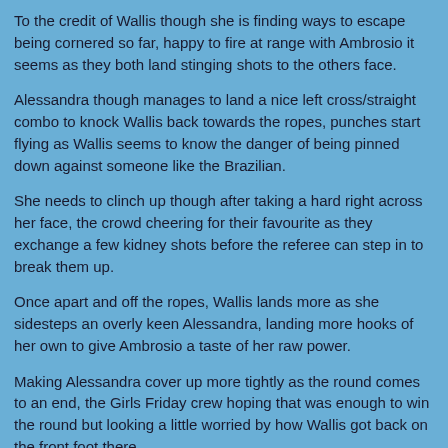To the credit of Wallis though she is finding ways to escape being cornered so far, happy to fire at range with Ambrosio it seems as they both land stinging shots to the others face.
Alessandra though manages to land a nice left cross/straight combo to knock Wallis back towards the ropes, punches start flying as Wallis seems to know the danger of being pinned down against someone like the Brazilian.
She needs to clinch up though after taking a hard right across her face, the crowd cheering for their favourite as they exchange a few kidney shots before the referee can step in to break them up.
Once apart and off the ropes, Wallis lands more as she sidesteps an overly keen Alessandra, landing more hooks of her own to give Ambrosio a taste of her raw power.
Making Alessandra cover up more tightly as the round comes to an end, the Girls Friday crew hoping that was enough to win the round but looking a little worried by how Wallis got back on the front foot there.
Round 4:
Thudding her gloves together as she comes back out, Alessandra is trying to close the distance early with her jab, finding it hard to land though with Wallis's head movement.
The Brit slips a straight to rifle in a right to the body, then a left hook to the ribs of Alessandra to make her hiss out, she ducks a left hook as she retreats back to further frustrate Alessandra.